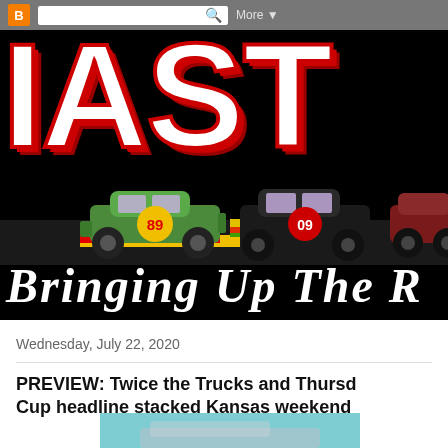[Figure (logo): Blogger navigation bar with orange B logo, search box, and More dropdown]
[Figure (logo): IAST racing blog banner with large white letters on black background, three racing cars numbered 89 and 09, and cursive tagline 'Bringing Up The R...']
Wednesday, July 22, 2020
PREVIEW: Twice the Trucks and Thursday Cup headline stacked Kansas weekend